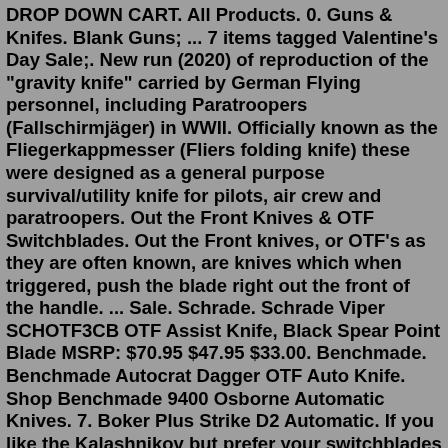DROP DOWN CART. All Products. 0. Guns & Knifes. Blank Guns; ... 7 items tagged Valentine's Day Sale;. New run (2020) of reproduction of the "gravity knife" carried by German Flying personnel, including Paratroopers (Fallschirmjäger) in WWII. Officially known as the Fliegerkappmesser (Fliers folding knife) these were designed as a general purpose survival/utility knife for pilots, air crew and paratroopers. Out the Front Knives & OTF Switchblades. Out the Front knives, or OTF's as they are often known, are knives which when triggered, push the blade right out the front of the handle. ... Sale. Schrade. Schrade Viper SCHOTF3CB OTF Assist Knife, Black Spear Point Blade MSRP: $70.95 $47.95 $33.00. Benchmade. Benchmade Autocrat Dagger OTF Auto Knife. Shop Benchmade 9400 Osborne Automatic Knives. 7. Boker Plus Strike D2 Automatic. If you like the Kalashnikov but prefer your switchblades with a little more belly and a safety slide, this Boker Plus Strike is an incredible option. Textured aluminum handle scales and a prominent finger choil keep your locked